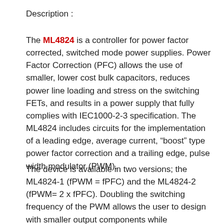Description :
The ML4824 is a controller for power factor corrected, switched mode power supplies. Power Factor Correction (PFC) allows the use of smaller, lower cost bulk capacitors, reduces power line loading and stress on the switching FETs, and results in a power supply that fully complies with IEC1000-2-3 specification. The ML4824 includes circuits for the implementation of a leading edge, average current, "boost" type power factor correction and a trailing edge, pulse width modulator (PWM).
The device is available in two versions; the ML4824-1 (fPWM = fPFC) and the ML4824-2 (fPWM= 2 x fPFC). Doubling the switching frequency of the PWM allows the user to design with smaller output components while maintaining the best operating frequency for